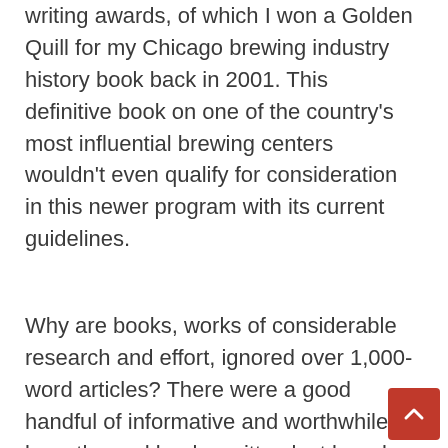writing awards, of which I won a Golden Quill for my Chicago brewing industry history book back in 2001. This definitive book on one of the country's most influential brewing centers wouldn't even qualify for consideration in this newer program with its current guidelines.
Why are books, works of considerable research and effort, ignored over 1,000-word articles? There were a good handful of informative and worthwhile beer-themed books written last beer by well-qualified experts who should ha